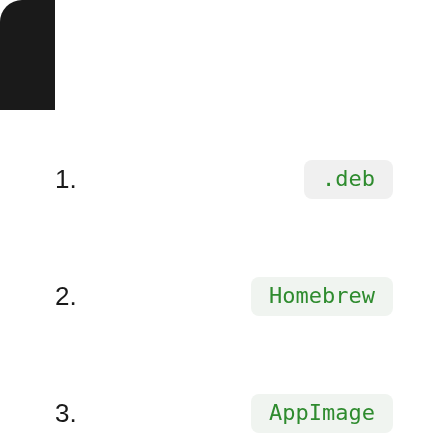[Figure (illustration): Black rounded square shape in the top-left corner of the page]
1. .deb
2. Homebrew
3. AppImage